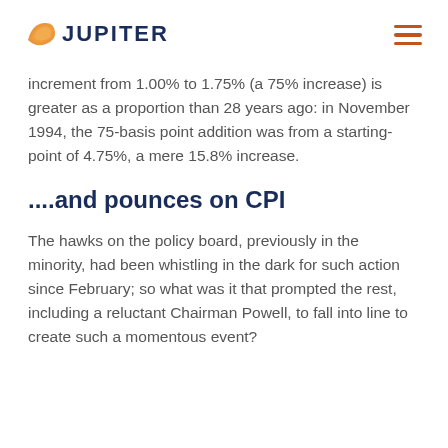JUPITER
increment from 1.00% to 1.75% (a 75% increase) is greater as a proportion than 28 years ago: in November 1994, the 75-basis point addition was from a starting-point of 4.75%, a mere 15.8% increase.
....and pounces on CPI
The hawks on the policy board, previously in the minority, had been whistling in the dark for such action since February; so what was it that prompted the rest, including a reluctant Chairman Powell, to fall into line to create such a momentous event?